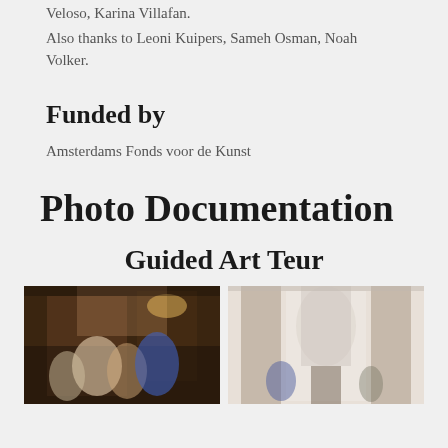Veloso, Karina Villafan.
Also thanks to Leoni Kuipers, Sameh Osman, Noah Volker.
Funded by
Amsterdams Fonds voor de Kunst
Photo Documentation
Guided Art Teur
[Figure (photo): Left photo: group of people inside a room with dark wood paneling and chandelier lighting, appears to be an art tour]
[Figure (photo): Right photo: people in a grand interior space with marble columns and ornate architecture, appears to be an art tour]